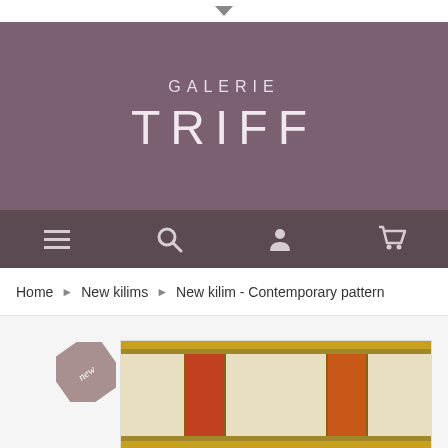[Figure (screenshot): Dropdown arrow indicator at top of page]
GALERIE TRIFF
[Figure (screenshot): Navigation bar with menu, search, account, and cart icons]
Home > New kilims > New kilim - Contemporary pattern
[Figure (photo): Product card showing a contemporary kilim rug with horizontal color stripes in yellow, orange, red, cream and brown, with a 'new' badge in the corner]